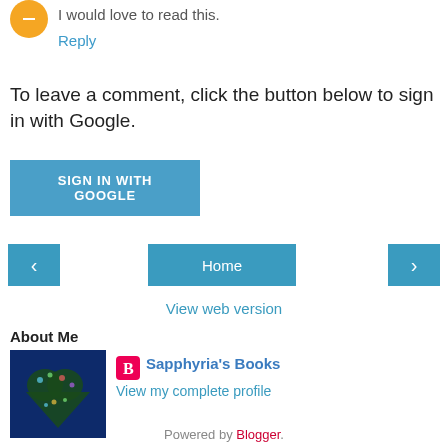I would love to read this.
Reply
To leave a comment, click the button below to sign in with Google.
SIGN IN WITH GOOGLE
[Figure (other): Navigation buttons: left arrow, Home, right arrow]
View web version
About Me
[Figure (photo): Profile image: dark blue background with heart shape made of flowers/butterflies]
Sapphyria's Books
View my complete profile
Powered by Blogger.